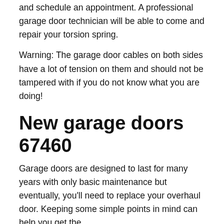and schedule an appointment. A professional garage door technician will be able to come and repair your torsion spring.
Warning: The garage door cables on both sides have a lot of tension on them and should not be tampered with if you do not know what you are doing!
New garage doors 67460
Garage doors are designed to last for many years with only basic maintenance but eventually, you'll need to replace your overhaul door. Keeping some simple points in mind can help you get the